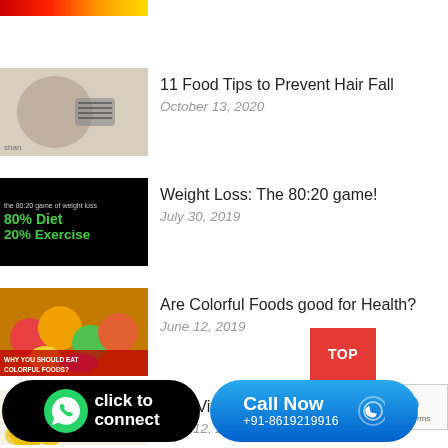[Figure (other): Red and yellow banner strip at top left]
11 Food Tips to Prevent Hair Fall
October 13, 2020
Weight Loss: The 80:20 game!
July 30, 2019
Are Colorful Foods good for Health?
June 12, 2019
Why Vitamin C is significant?
June 12, 2019
[Figure (other): WhatsApp click to connect button (green circle with WhatsApp icon, black background, rounded rectangle)]
[Figure (other): Call Now +91-8619219916 button (blue gradient rounded rectangle with phone icon)]
[Figure (other): TOP red button]
Privacy · Terms